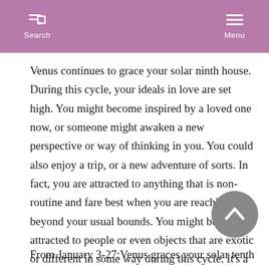Search  Menu
Venus continues to grace your solar ninth house. During this cycle, your ideals in love are set high. You might become inspired by a loved one now, or someone might awaken a new perspective or way of thinking in you. You could also enjoy a trip, or a new adventure of sorts. In fact, you are attracted to anything that is non-routine and fare best when you are reaching out beyond your usual bounds. You might be attracted to people or even objects that are exotic or different in some way during this cycle. It's a good period for personal charm and attractiveness in general.
From January 3-27:Venus graces your solar tenth house